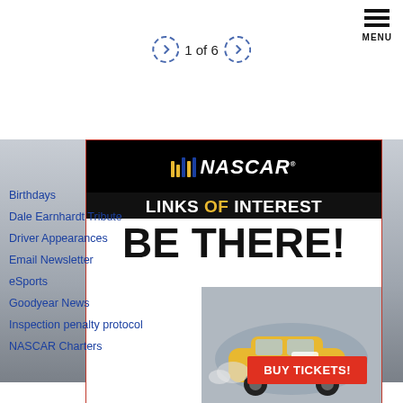MENU
1 of 6
[Figure (screenshot): NASCAR advertisement overlay on a NASCAR race webpage. Shows NASCAR logo, 'LINKS OF INTEREST', 'BE THERE!' headline with a yellow race car, and a red 'BUY TICKETS!' button. Behind the ad is a blurred photo of a race track.]
Birthdays
Dale Earnhardt Tribute
Driver Appearances
Email Newsletter
eSports
Goodyear News
Inspection penalty protocol
NASCAR Charters